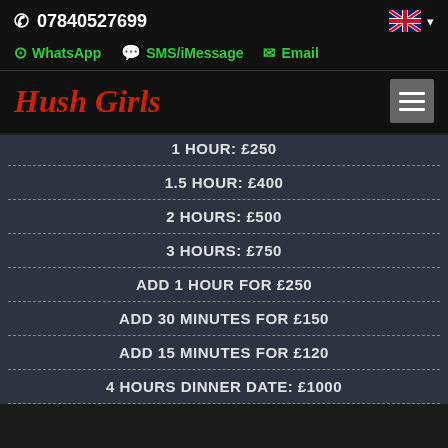📞 07840527699
WhatsApp  SMS/iMessage  Email
Hush Girls
1 HOUR: £250
1.5 HOUR: £400
2 HOURS: £500
3 HOURS: £750
ADD 1 HOUR FOR £250
ADD 30 MINUTES FOR £150
ADD 15 MINUTES FOR £120
4 HOURS DINNER DATE: £1000